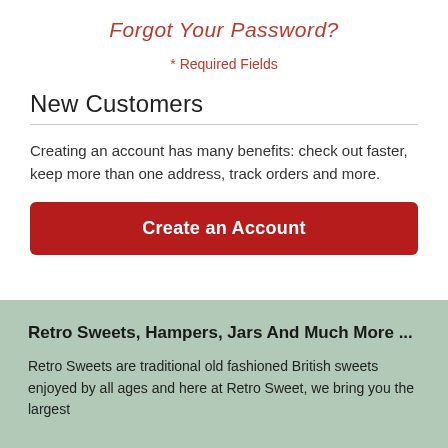Forgot Your Password?
* Required Fields
New Customers
Creating an account has many benefits: check out faster, keep more than one address, track orders and more.
Create an Account
Retro Sweets, Hampers, Jars And Much More ...
Retro Sweets are traditional old fashioned British sweets enjoyed by all ages and here at Retro Sweet, we bring you the largest